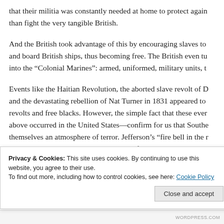that their militia was constantly needed at home to protect again than fight the very tangible British.
And the British took advantage of this by encouraging slaves to and board British ships, thus becoming free. The British even tu into the “Colonial Marines”: armed, uniformed, military units, t
Events like the Haitian Revolution, the aborted slave revolt of D and the devastating rebellion of Nat Turner in 1831 appeared to revolts and free blacks. However, the simple fact that these ever above occurred in the United States—confirm for us that Southe themselves an atmosphere of terror. Jefferson’s “fire bell in the r Compromise is almost never given in its full context. In a given
Privacy & Cookies: This site uses cookies. By continuing to use this website, you agree to their use.
To find out more, including how to control cookies, see here: Cookie Policy
Close and accept
WORDPRESS.COM